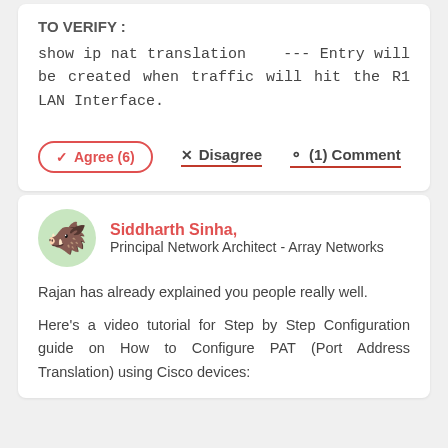TO VERIFY :
show ip nat translation   --- Entry will be created when traffic will hit the R1 LAN Interface.
✓ Agree (6)   ✕ Disagree   ⊙ (1) Comment
Siddharth Sinha, Principal Network Architect - Array Networks
Rajan has already explained you people really well.
Here's a video tutorial for Step by Step Configuration guide on How to Configure PAT (Port Address Translation) using Cisco devices: